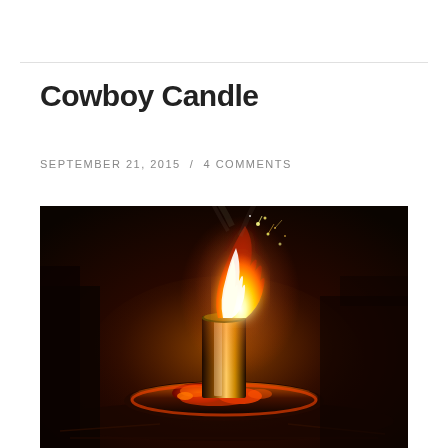Cowboy Candle
SEPTEMBER 21, 2015 / 4 COMMENTS
[Figure (photo): A glowing cowboy candle — a cylindrical metal tube standing upright inside a round metal base dish, burning with a bright tall flame with sparks flying upward, surrounded by glowing red embers, photographed at night with dark background and warm orange-red tones.]